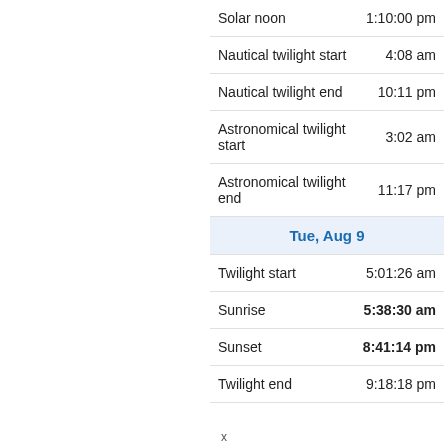| Event | Time |
| --- | --- |
| Solar noon | 1:10:00 pm |
| Nautical twilight start | 4:08 am |
| Nautical twilight end | 10:11 pm |
| Astronomical twilight start | 3:02 am |
| Astronomical twilight end | 11:17 pm |
| Tue, Aug 9 |  |
| Twilight start | 5:01:26 am |
| Sunrise | 5:38:30 am |
| Sunset | 8:41:14 pm |
| Twilight end | 9:18:18 pm |